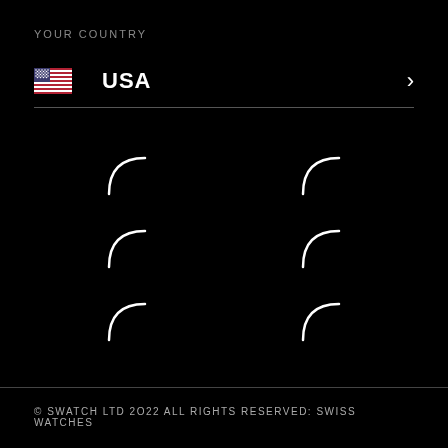YOUR COUNTRY
USA
[Figure (infographic): Loading spinner arcs arranged in a 2x3 grid on black background — six small curved arc shapes indicating loading state]
© SWATCH LTD 2O22 ALL RIGHTS RESERVED: SWISS WATCHES